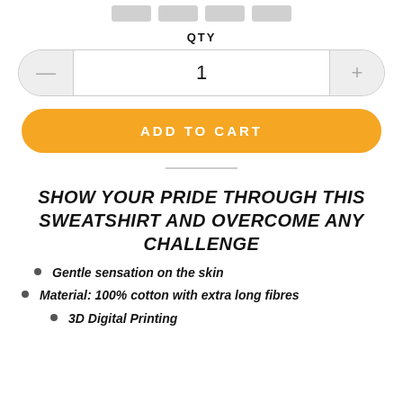[Figure (other): Row of four gray thumbnail image placeholders at top of page]
QTY
[Figure (other): Quantity selector control with minus button, input showing 1, and plus button]
ADD TO CART
SHOW YOUR PRIDE THROUGH THIS SWEATSHIRT AND OVERCOME ANY CHALLENGE
Gentle sensation on the skin
Material: 100% cotton with extra long fibres
3D Digital Printing